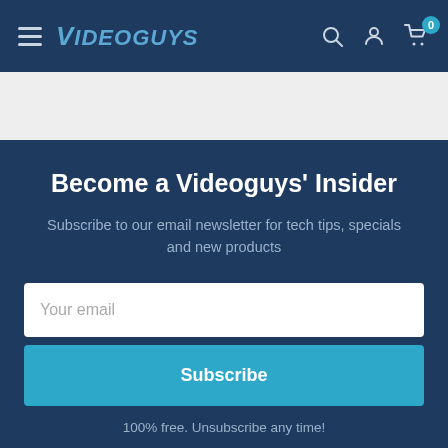Videoguys navigation bar with hamburger menu, logo, search, account, and cart icons
Become a Videoguys' Insider
Subscribe to our email newsletter for tech tips, specials and new products
Your email
Subscribe
100% free. Unsubscribe any time!